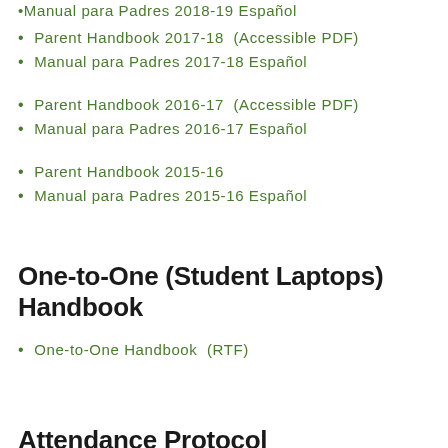Manual para Padres 2018-19 Español
Parent Handbook 2017-18  (Accessible PDF)
Manual para Padres 2017-18 Español
Parent Handbook 2016-17  (Accessible PDF)
Manual para Padres 2016-17 Español
Parent Handbook 2015-16
Manual para Padres 2015-16 Español
One-to-One (Student Laptops) Handbook
One-to-One Handbook  (RTF)
Attendance Protocol